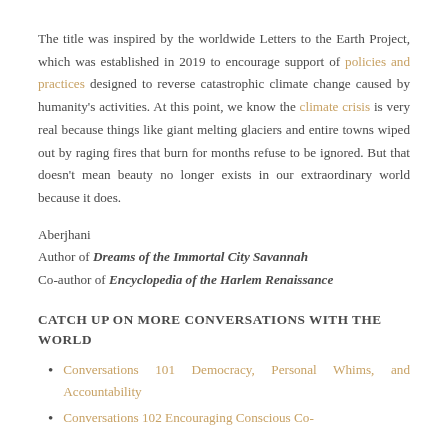The title was inspired by the worldwide Letters to the Earth Project, which was established in 2019 to encourage support of policies and practices designed to reverse catastrophic climate change caused by humanity's activities. At this point, we know the climate crisis is very real because things like giant melting glaciers and entire towns wiped out by raging fires that burn for months refuse to be ignored. But that doesn't mean beauty no longer exists in our extraordinary world because it does.
Aberjhani
Author of Dreams of the Immortal City Savannah
Co-author of Encyclopedia of the Harlem Renaissance
CATCH UP ON MORE CONVERSATIONS WITH THE WORLD
Conversations 101 Democracy, Personal Whims, and Accountability
Conversations 102 Encouraging Conscious Co-